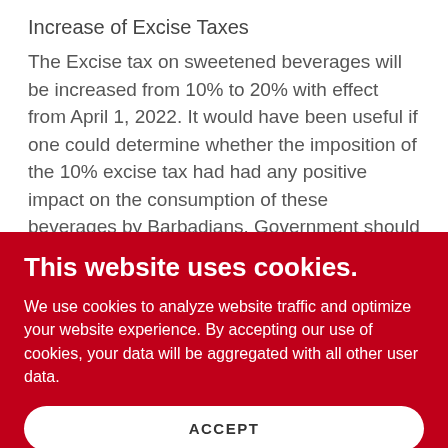Increase of Excise Taxes
The Excise tax on sweetened beverages will be increased from 10% to 20% with effect from April 1, 2022. It would have been useful if one could determine whether the imposition of the 10% excise tax had had any positive impact on the consumption of these beverages by Barbadians. Government should perhaps put these funds towards a true Health and Wellness programme for the country.
This website uses cookies.
We use cookies to analyze website traffic and optimize your website experience. By accepting our use of cookies, your data will be aggregated with all other user data.
ACCEPT